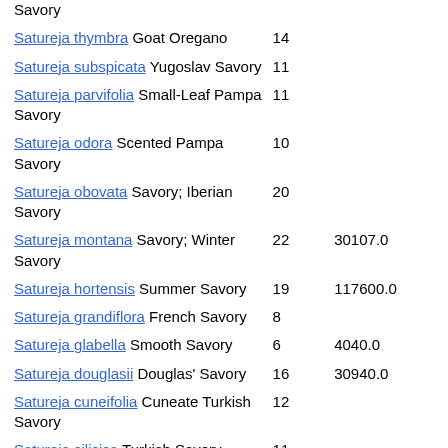| Savory |  |  |
| Satureja thymbra Goat Oregano | 14 |  |
| Satureja subspicata Yugoslav Savory | 11 |  |
| Satureja parvifolia Small-Leaf Pampa Savory | 11 |  |
| Satureja odora Scented Pampa Savory | 10 |  |
| Satureja obovata Savory; Iberian Savory | 20 |  |
| Satureja montana Savory; Winter Savory | 22 | 30107.0 |
| Satureja hortensis Summer Savory | 19 | 117600.0 |
| Satureja grandiflora French Savory | 8 |  |
| Satureja glabella Smooth Savory | 6 | 4040.0 |
| Satureja douglasii Douglas' Savory | 16 | 30940.0 |
| Satureja cuneifolia Cuneate Turkish Savory | 12 |  |
| Satureja cilicica Turkish Savory | 11 |  |